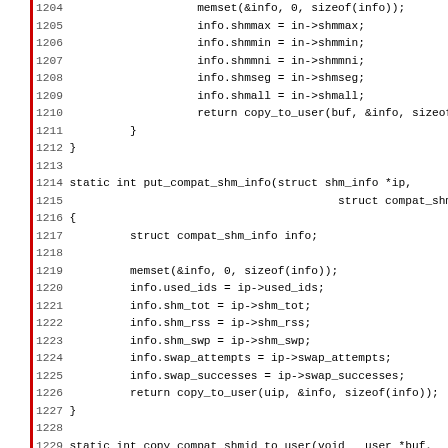[Figure (screenshot): Source code listing showing C functions put_compat_shm_info and copy_compat_shmid_to_user with line numbers 1204-1235]